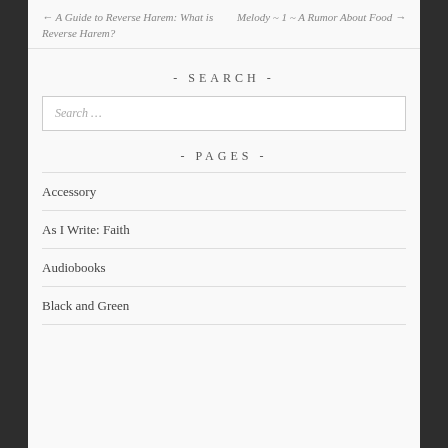← A Guide to Reverse Harem: What is Reverse Harem?    Melody ~ 1 ~ A Rumor About Food →
- SEARCH -
Search …
- PAGES -
Accessory
As I Write: Faith
Audiobooks
Black and Green